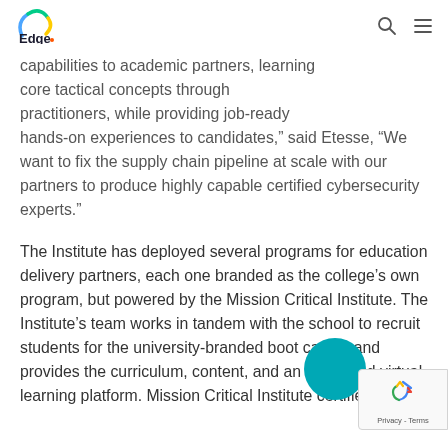Edge. [logo with search and menu icons]
capabilities to academic partners, learning core tactical concepts through practitioners, while providing job-ready hands-on experiences to candidates,” said Etesse, “We want to fix the supply chain pipeline at scale with our partners to produce highly capable certified cybersecurity experts.”
The Institute has deployed several programs for education delivery partners, each one branded as the college’s own program, but powered by the Mission Critical Institute. The Institute’s team works in tandem with the school to recruit students for the university-branded boot camps and provides the curriculum, content, and an integrated virtual learning platform. Mission Critical Institute certified